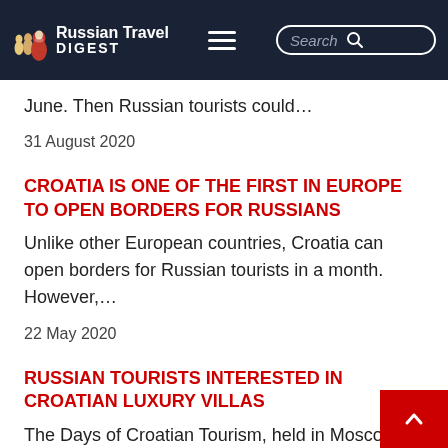Russian Travel DIGEST
June. Then Russian tourists could…
31 August 2020
CROATIA IS ONE OF THE FIRST IN EUROPE TO OPEN BORDERS FOR RUSSIANS
Unlike other European countries, Croatia can open borders for Russian tourists in a month. However,…
22 May 2020
RUSSIAN TOURISTS INTERESTED IN CROATIAN LUXURY VILLAS
The Days of Croatian Tourism, held in Moscow this week, has confirmed the enormous amount of interest…